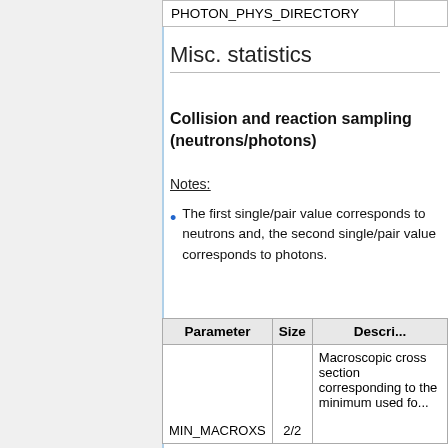|  | PHOTON_PHYS_DIRECTORY |  |
| --- | --- | --- |
Misc. statistics
Collision and reaction sampling (neutrons/photons)
Notes:
The first single/pair value corresponds to neutrons and, the second single/pair value corresponds to photons.
| Parameter | Size | Descri... |
| --- | --- | --- |
| MIN_MACROXS | 2/2 | Macroscopic cross section corresponding to the minimum used fo... |